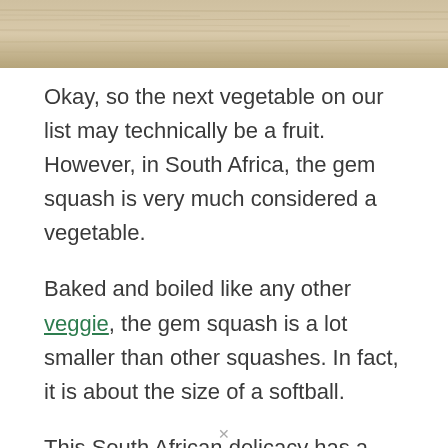[Figure (photo): Wood texture or wooden surface image at the top of the page]
Okay, so the next vegetable on our list may technically be a fruit. However, in South Africa, the gem squash is very much considered a vegetable.
Baked and boiled like any other veggie, the gem squash is a lot smaller than other squashes. In fact, it is about the size of a softball.
This South African delicacy has a wonderful earthy flavor. When stuffed and baked this